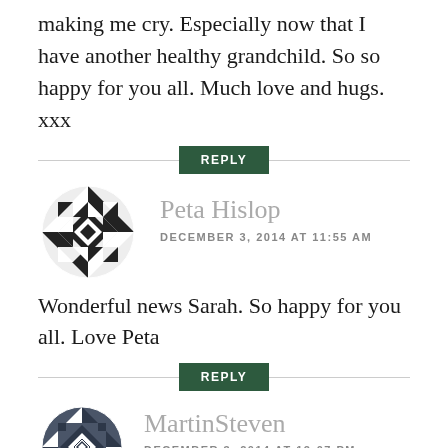making me cry. Especially now that I have another healthy grandchild. So so happy for you all. Much love and hugs. xxx
REPLY
[Figure (illustration): Black and white geometric quilt-pattern avatar for Peta Hislop]
Peta Hislop
DECEMBER 3, 2014 AT 11:55 AM
Wonderful news Sarah. So happy for you all. Love Peta
REPLY
[Figure (illustration): Dark blue/grey geometric quilt-pattern avatar for MartinSteven]
MartinSteven
DECEMBER 3, 2014 AT 12:07 PM